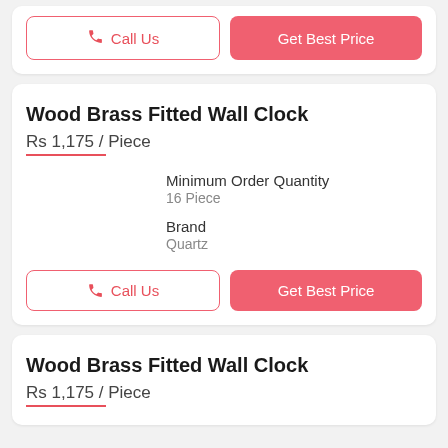[Figure (screenshot): Top partial product card with Call Us and Get Best Price buttons]
Wood Brass Fitted Wall Clock
Rs 1,175 / Piece
Minimum Order Quantity
16 Piece
Brand
Quartz
[Figure (screenshot): Call Us button and Get Best Price button row]
Wood Brass Fitted Wall Clock
Rs 1,175 / Piece